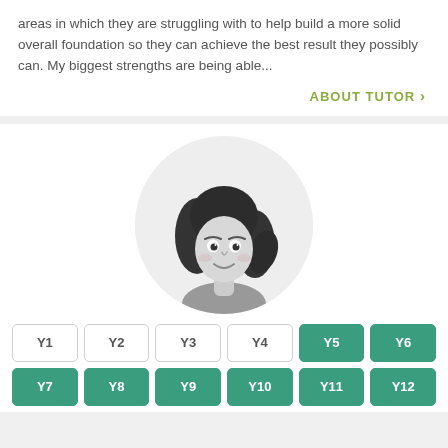areas in which they are struggling with to help build a more solid overall foundation so they can achieve the best result they possibly can. My biggest strengths are being able...
ABOUT TUTOR >
[Figure (illustration): Cartoon avatar illustration of a girl with dark hair wearing a grey top, shown from shoulders up inside a light grey circle background.]
Y1
Y2
Y3
Y4
Y5
Y6
Y7
Y8
Y9
Y10
Y11
Y12